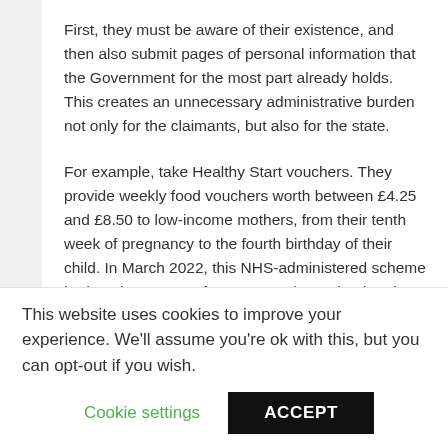First, they must be aware of their existence, and then also submit pages of personal information that the Government for the most part already holds. This creates an unnecessary administrative burden not only for the claimants, but also for the state.
For example, take Healthy Start vouchers. They provide weekly food vouchers worth between £4.25 and £8.50 to low-income mothers, from their tenth week of pregnancy to the fourth birthday of their child. In March 2022, this NHS-administered scheme had a take-up rate of 72 per cent in England and Wales.
That means that almost 150,000 households in need
This website uses cookies to improve your experience. We'll assume you're ok with this, but you can opt-out if you wish.
Cookie settings | ACCEPT